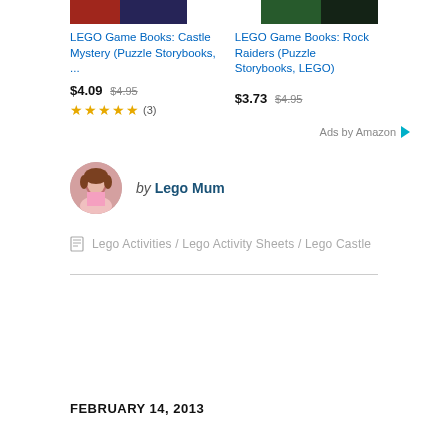[Figure (photo): LEGO Game Books Castle Mystery product thumbnail image (partial, cut off at top)]
[Figure (photo): LEGO Game Books Rock Raiders product thumbnail image (partial, cut off at top)]
LEGO Game Books: Castle Mystery (Puzzle Storybooks, ...
LEGO Game Books: Rock Raiders (Puzzle Storybooks, LEGO)
$4.09 $4.95
$3.73 $4.95
★★★★★ (3)
Ads by Amazon
[Figure (photo): Circular author avatar photo of Lego Mum — woman with brown hair wearing pink top]
by Lego Mum
Lego Activities / Lego Activity Sheets / Lego Castle
FEBRUARY 14, 2013